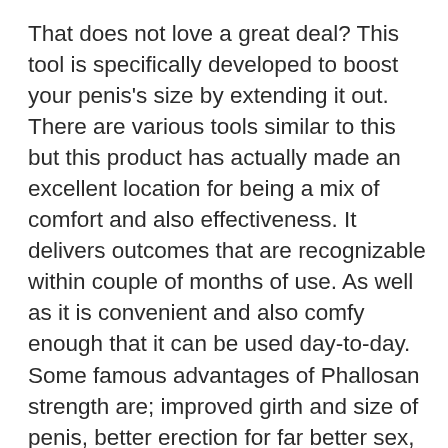That does not love a great deal? This tool is specifically developed to boost your penis's size by extending it out. There are various tools similar to this but this product has actually made an excellent location for being a mix of comfort and also effectiveness. It delivers outcomes that are recognizable within couple of months of use. As well as it is convenient and also comfy enough that it can be used day-to-day. Some famous advantages of Phallosan strength are; improved girth and size of penis, better erection for far better sex, and also it can be made use of for any type of penis dimension.
This penis enlargement device resembles for its simpleness of usage. The grip gadget has